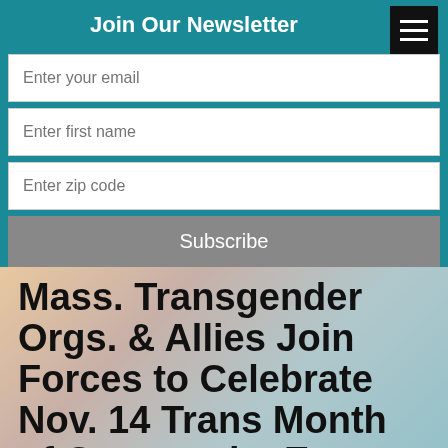Join Our Newsletter
Enter your email
Enter first name
Enter zip code
Subscribe
Mass. Transgender Orgs. & Allies Join Forces to Celebrate Nov. 14 Trans Month of Community Events